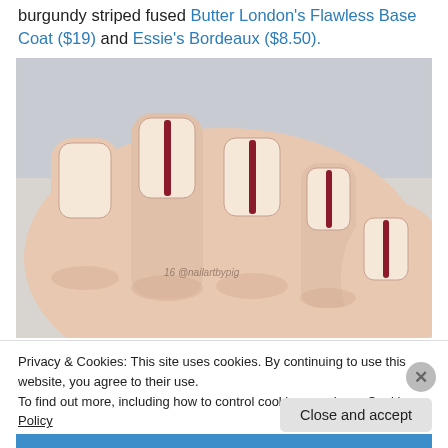burgundy striped fused Butter London's Flawless Base Coat ($19) and Essie's Bordeaux ($8.50).
[Figure (photo): Close-up photo of a hand with nails painted in a nude/cream base coat with a thin burgundy stripe down the center of each nail. Watermark reads '16 @nailartbypig'.]
Privacy & Cookies: This site uses cookies. By continuing to use this website, you agree to their use.
To find out more, including how to control cookies, see here: Cookie Policy
Close and accept